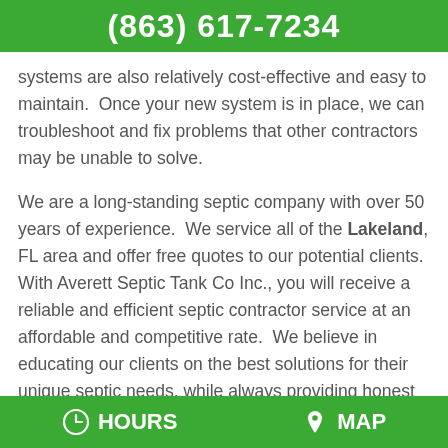(863) 617-7234
systems are also relatively cost-effective and easy to maintain.  Once your new system is in place, we can troubleshoot and fix problems that other contractors may be unable to solve.
We are a long-standing septic company with over 50 years of experience.  We service all of the Lakeland, FL area and offer free quotes to our potential clients.  With Averett Septic Tank Co Inc., you will receive a reliable and efficient septic contractor service at an affordable and competitive rate.  We believe in educating our clients on the best solutions for their unique septic needs, while always providing honest and clear answers to
HOURS   MAP